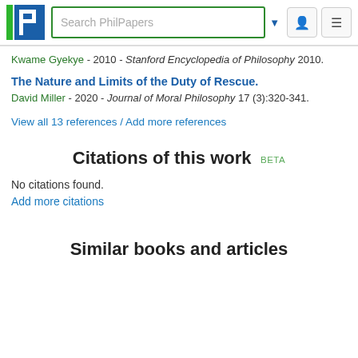Search PhilPapers
Kwame Gyekye - 2010 - Stanford Encyclopedia of Philosophy 2010.
The Nature and Limits of the Duty of Rescue.
David Miller - 2020 - Journal of Moral Philosophy 17 (3):320-341.
View all 13 references / Add more references
Citations of this work BETA
No citations found.
Add more citations
Similar books and articles